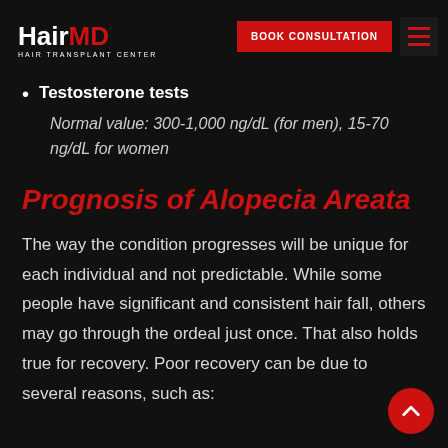HairMD HAIR TRANSPLANT CENTER | BOOK CONSULTATION
Testosterone tests
Normal value: 300-1,000 ng/dL (for men), 15-70 ng/dL for women
Prognosis of Alopecia Areata
The way the condition progresses will be unique for each individual and not predictable. While some people have significant and consistent hair fall, others may go through the ordeal just once. That also holds true for recovery. Poor recovery can be due to several reasons, such as: